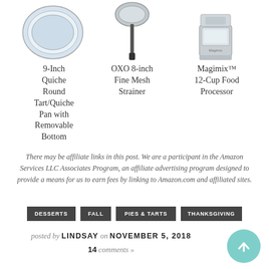[Figure (photo): 9-Inch Round Quiche Tart pan, top view, silver/metal]
[Figure (photo): OXO 8-inch Fine Mesh Strainer with black handle]
[Figure (photo): Magimix 12-Cup Food Processor, silver/grey appliance]
9-Inch Quiche Round Tart/Quiche Pan with Removable Bottom
OXO 8-inch Fine Mesh Strainer
Magimix™ 12-Cup Food Processor
There may be affiliate links in this post. We are a participant in the Amazon Services LLC Associates Program, an affiliate advertising program designed to provide a means for us to earn fees by linking to Amazon.com and affiliated sites.
DESSERTS
FALL
PIES & TARTS
THANKSGIVING
posted by LINDSAY on NOVEMBER 5, 2018
14 comments »